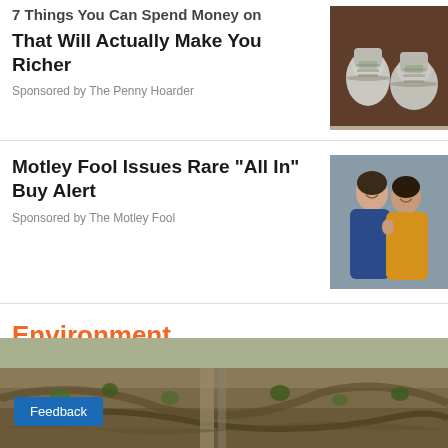7 Things You Can Spend Money on That Will Actually Make You Richer
Sponsored by The Penny Hoarder
[Figure (photo): Two bags of bundled cash money on a dark wood surface]
Motley Fool Issues Rare "All In" Buy Alert
Sponsored by The Motley Fool
[Figure (photo): Two smiling women, one in blue shirt and one in yellow top, posing together on grey background]
Environment
[Figure (photo): Aerial view of eroded landscape with trees and dirt terrain]
Feedback